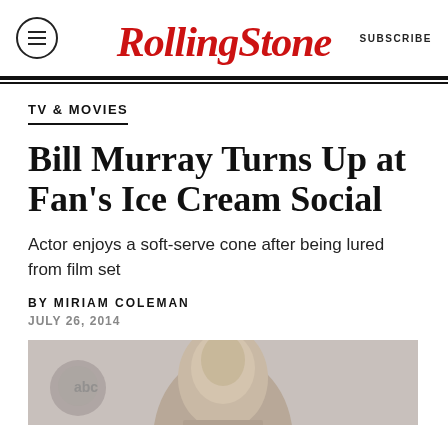Rolling Stone | SUBSCRIBE
TV & MOVIES
Bill Murray Turns Up at Fan's Ice Cream Social
Actor enjoys a soft-serve cone after being lured from film set
BY MIRIAM COLEMAN
JULY 26, 2014
[Figure (photo): Partial photo of Bill Murray, cropped showing head and upper body]